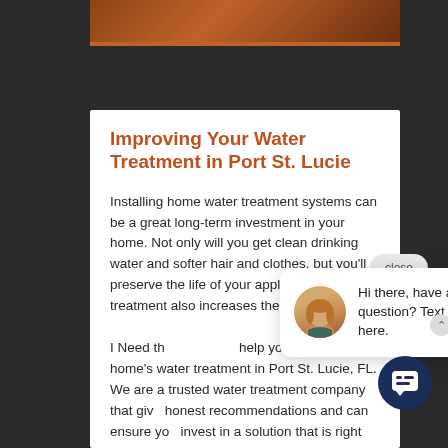[Figure (photo): Dark background with orange/brown image strip at top, representing a webpage screenshot with water treatment content]
Improving Your Water Treatment in Port St. Lucie
Installing home water treatment systems can be a great long-term investment in your home. Not only will you get clean drinking water and softer hair and clothes, but you'll preserve the life of your appliances. Water treatment also increases the value of your home.
I Need the help to improve your home's water treatment in Port St. Lucie, FL. We are a trusted water treatment company that give honest recommendations and can ensure you invest in a solution that is right for you.
[Figure (screenshot): Chat widget popup with female avatar and message: Hi there, have a question? Text us here. Close button visible. Dark navy chat icon button at bottom right.]